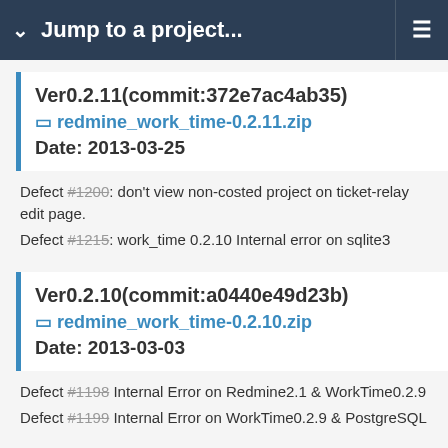Jump to a project...
Ver0.2.11(commit:372e7ac4ab35)
redmine_work_time-0.2.11.zip
Date: 2013-03-25
Defect #1200: don't view non-costed project on ticket-relay edit page.
Defect #1215: work_time 0.2.10 Internal error on sqlite3
Ver0.2.10(commit:a0440e49d23b)
redmine_work_time-0.2.10.zip
Date: 2013-03-03
Defect #1198 Internal Error on Redmine2.1 & WorkTime0.2.9
Defect #1199 Internal Error on WorkTime0.2.9 & PostgreSQL